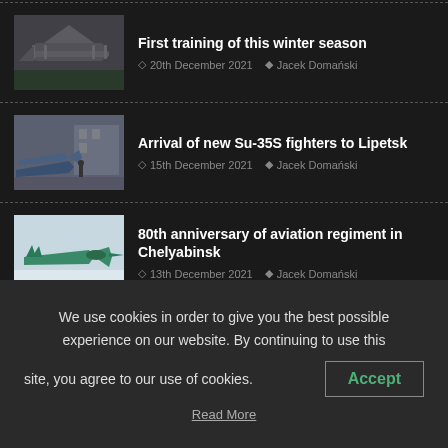First training of this winter season | 20th December 2021 | Jacek Domański
Arrival of new Su-35S fighters to Lipetsk | 15th December 2021 | Jacek Domański
80th anniversary of aviation regiment in Chelyabinsk | 13th December 2021 | Jacek Domański
We use cookies in order to give you the best possible experience on our website. By continuing to use this site, you agree to our use of cookies.
Accept
Read More